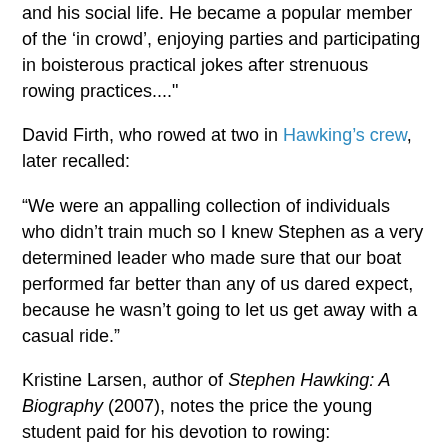and his social life. He became a popular member of the 'in crowd', enjoying parties and participating in boisterous practical jokes after strenuous rowing practices...."
David Firth, who rowed at two in Hawking's crew, later recalled:
“We were an appalling collection of individuals who didn’t train much so I knew Stephen as a very determined leader who made sure that our boat performed far better than any of us dared expect, because he wasn’t going to let us get away with a casual ride.”
Kristine Larsen, author of Stephen Hawking: A Biography (2007), notes the price the young student paid for his devotion to rowing:
“Stephen had to balance his time between his studies.... and his time on the river. Rowing demanded many hours of practice, six afternoons a week, which cut into the time he was supposed to spend doing experiments in his laboratory course. According to Gordon Berry (a fellow cox and